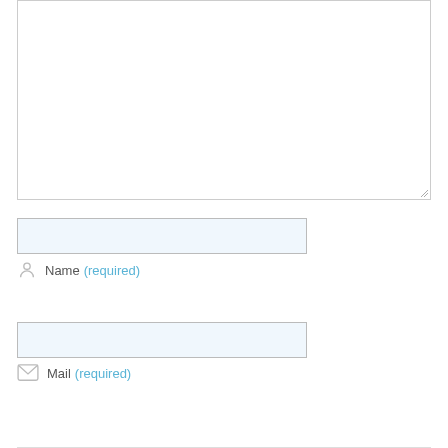[Figure (screenshot): Empty textarea input box with resize handle at bottom-right corner]
Name (required)
Mail (required)